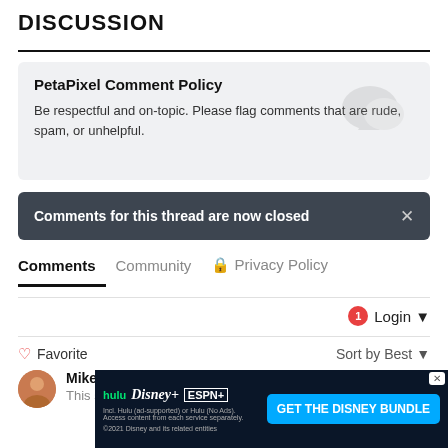DISCUSSION
PetaPixel Comment Policy
Be respectful and on-topic. Please flag comments that are rude, spam, or unhelpful.
Comments for this thread are now closed
Comments  Community  🔒 Privacy Policy
Login ▾
♡ Favorite   Sort by Best ▾
Mike
This se... too
[Figure (screenshot): Disney Bundle advertisement banner with Hulu, Disney+, ESPN+ logos and GET THE DISNEY BUNDLE call to action]